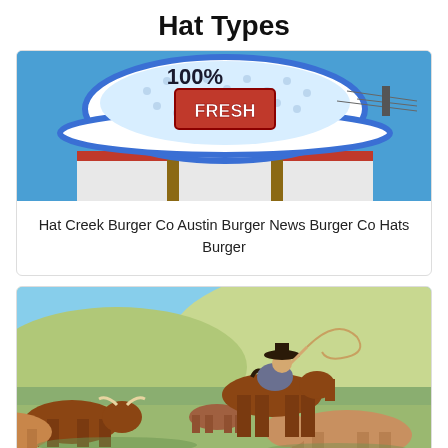Hat Types
[Figure (photo): A large cowboy-hat shaped sign for Hat Creek Burger Co reading '100% FRESH' against a blue sky with a red and white restaurant building below]
Hat Creek Burger Co Austin Burger News Burger Co Hats Burger
[Figure (photo): A cowboy on horseback wearing a dark cowboy hat, swinging a lasso, herding longhorn cattle across a green prairie field]